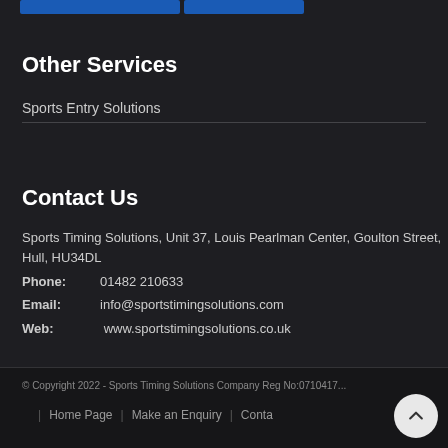[Figure (screenshot): Two blue navigation buttons at the top of the page]
Other Services
Sports Entry Solutions
Contact Us
Sports Timing Solutions, Unit 37, Louis Pearlman Center, Goulton Street, Hull, HU34DL
Phone: 01482 210633
Email: info@sportstimingsolutions.com
Web: www.sportstimingsolutions.co.uk
© Copyright 2022 - Sports Timing Solutions Company Reg No:0710417... | Home Page | Make an Enquiry | Contact